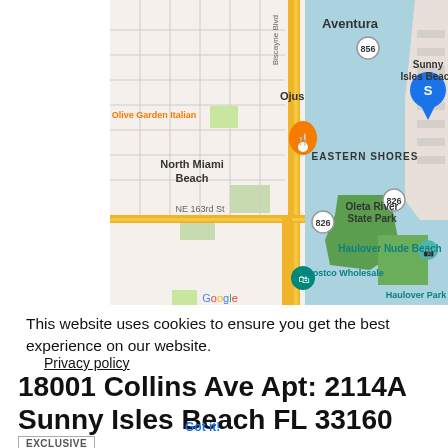[Figure (map): Google Maps screenshot showing North Miami Beach, Aventura, Ojus, Sunny Isles Beach, Eastern Shores, Oleta River State Park, Haulover Nude Beach, Haulover Park, Costco Wholesale area. Shows roads including NE 163rd St, route 826, route 856. Orange pin at Olive Garden Italian restaurant. Blue location pin labeled S near Sunny Isles Beach.]
This website uses cookies to ensure you get the best experience on our website.
Privacy policy
18001 Collins Ave Apt: 2114A
Sunny Isles Beach FL 33160
Got it!
EXCLUSIVE